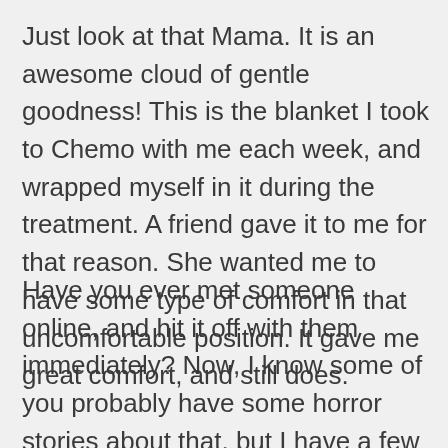Just look at that Mama. It is an awesome cloud of gentle goodness! This is the blanket I took to Chemo with me each week, and wrapped myself in it during the treatment. A friend gave it to me for that reason. She wanted me to have some type of comfort in that uncomfortable position. It gave me great comfort, and still does.
Have you ever met someone online, and hit it off with them immediately? Now, I know some of you probably have some horror stories about that, but I have a few girlfriends I have met through social media, but not in person. It